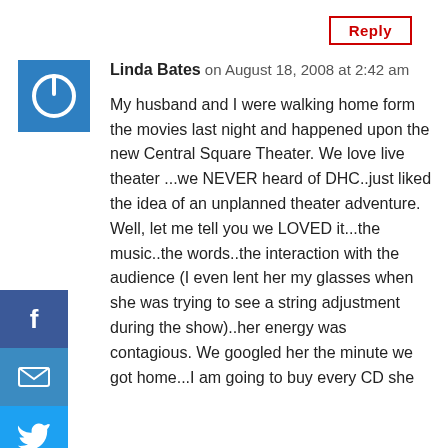Reply
[Figure (other): Blue square avatar with white power button icon]
Linda Bates on August 18, 2008 at 2:42 am
My husband and I were walking home form the movies last night and happened upon the new Central Square Theater. We love live theater ...we NEVER heard of DHC..just liked the idea of an unplanned theater adventure. Well, let me tell you we LOVED it...the music..the words..the interaction with the audience (I even lent her my glasses when she was trying to see a string adjustment during the show)..her energy was contagious. We googled her the minute we got home...I am going to buy every CD she
[Figure (other): Social media sharing sidebar with Facebook, Email, Twitter, LinkedIn, and Pinterest buttons]